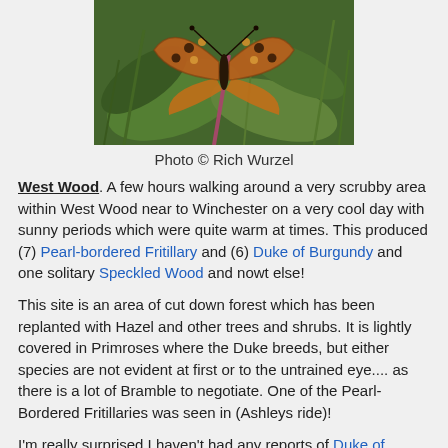[Figure (photo): Close-up photograph of a butterfly (Pearl-bordered Fritillary or similar) with orange and black checkered wings resting on green leaves and grass. Photo credit: Rich Wurzel.]
Photo © Rich Wurzel
West Wood. A few hours walking around a very scrubby area within West Wood near to Winchester on a very cool day with sunny periods which were quite warm at times. This produced (7) Pearl-bordered Fritillary and (6) Duke of Burgundy and one solitary Speckled Wood and nowt else!
This site is an area of cut down forest which has been replanted with Hazel and other trees and shrubs. It is lightly covered in Primroses where the Duke breeds, but either species are not evident at first or to the untrained eye.... as there is a lot of Bramble to negotiate. One of the Pearl-Bordered Fritillaries was seen in (Ashleys ride)!
I'm really surprised I haven't had any reports of Duke of Burgundy